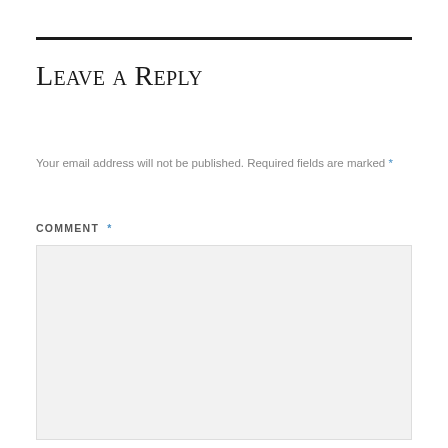Leave a Reply
Your email address will not be published. Required fields are marked *
COMMENT *